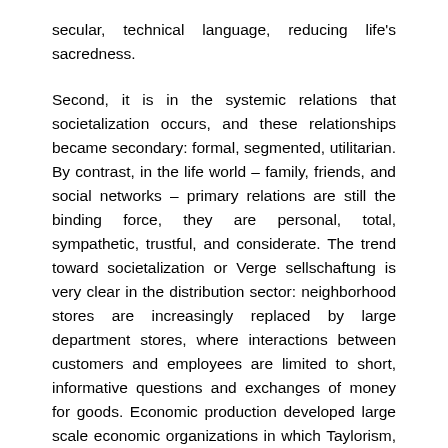secular, technical language, reducing life's sacredness.
Second, it is in the systemic relations that societalization occurs, and these relationships became secondary: formal, segmented, utilitarian. By contrast, in the life world – family, friends, and social networks – primary relations are still the binding force, they are personal, total, sympathetic, trustful, and considerate. The trend toward societalization or Verge sellschaftung is very clear in the distribution sector: neighborhood stores are increasingly replaced by large department stores, where interactions between customers and employees are limited to short, informative questions and exchanges of money for goods. Economic production developed large scale economic organizations in which Taylorism, which is based on the specialization of tasks and the elimination of